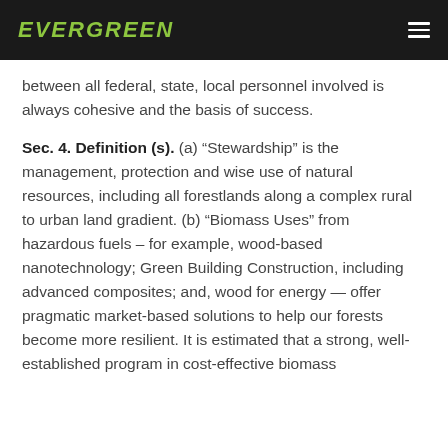EVERGREEN
between all federal, state, local personnel involved is always cohesive and the basis of success.
Sec. 4. Definition (s). (a) “Stewardship” is the management, protection and wise use of natural resources, including all forestlands along a complex rural to urban land gradient. (b) “Biomass Uses” from hazardous fuels – for example, wood-based nanotechnology; Green Building Construction, including advanced composites; and, wood for energy — offer pragmatic market-based solutions to help our forests become more resilient. It is estimated that a strong, well-established program in cost-effective biomass